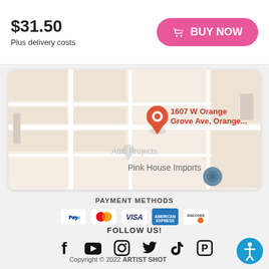$31.50
Plus delivery costs
[Figure (map): Google Maps view showing a red location pin at '1607 W Orange Grove Ave, Orange...' with 'Pink House Imports' label visible below the pin. The map shows street grid on a beige background.]
PAYMENT METHODS
[Figure (infographic): Payment method logos: PayPal, Mastercard, Visa, American Express, Discover]
FOLLOW US!
[Figure (infographic): Social media icons: Facebook, YouTube, Instagram, Twitter, TikTok, Pinterest]
Copyright © 2022 ARTIST SHOT